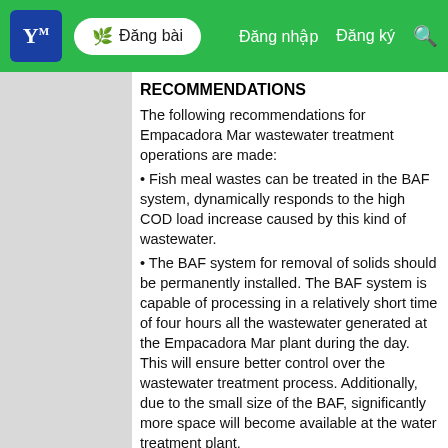Y | Đăng bài  Đăng nhập  Đăng ký  🔍
RECOMMENDATIONS
The following recommendations for Empacadora Mar wastewater treatment operations are made:
• Fish meal wastes can be treated in the BAF system, dynamically responds to the high COD load increase caused by this kind of wastewater.
• The BAF system for removal of solids should be permanently installed. The BAF system is capable of processing in a relatively short time of four hours all the wastewater generated at the Empacadora Mar plant during the day. This will ensure better control over the wastewater treatment process. Additionally, due to the small size of the BAF, significantly more space will become available at the water treatment plant.